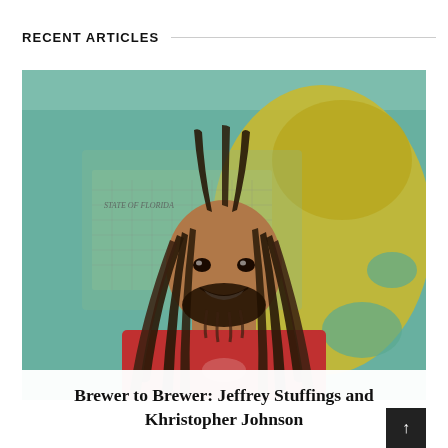RECENT ARTICLES
[Figure (photo): Portrait photo of a man with long dreadlocks and a beard, wearing a red shirt, smiling in front of a colorful vintage map of Florida on the wall behind him.]
Brewer to Brewer: Jeffrey Stuffings and Khristopher Johnson